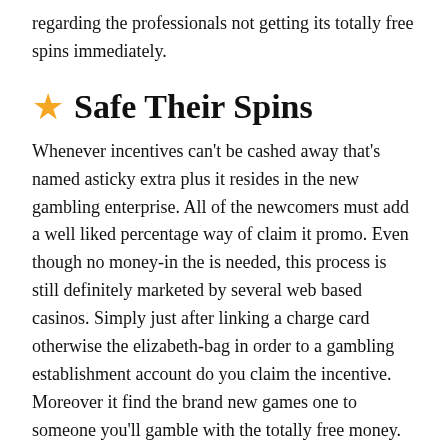regarding the professionals not getting its totally free spins immediately.
★ Safe Their Spins
Whenever incentives can't be cashed away that's named asticky extra plus it resides in the new gambling enterprise. All of the newcomers must add a well liked percentage way of claim it promo. Even though no money-in the is needed, this process is still definitely marketed by several web based casinos. Simply just after linking a charge card otherwise the elizabeth-bag in order to a gambling establishment account do you claim the incentive. Moreover it find the brand new games one to someone you'll gamble with the totally free money.